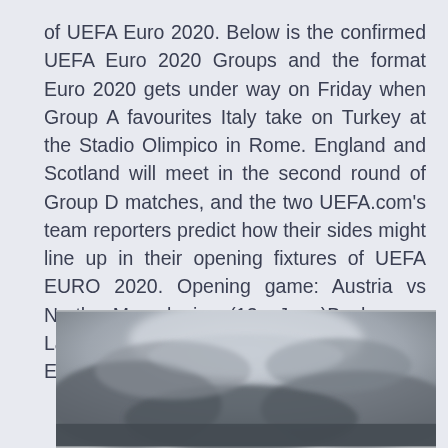of UEFA Euro 2020. Below is the confirmed UEFA Euro 2020 Groups and the format Euro 2020 gets under way on Friday when Group A favourites Italy take on Turkey at the Stadio Olimpico in Rome. England and Scotland will meet in the second round of Group D matches, and the two UEFA.com's team reporters predict how their sides might line up in their opening fixtures of UEFA EURO 2020. Opening game: Austria vs North Macedonia (13 June)Bachmann; Lainer, Dragović UEFA Euro 2020 UEFA Euro 2020 official logo Live It. For Real.
[Figure (photo): Dark overcast sky with clouds, grayscale/desaturated photo]